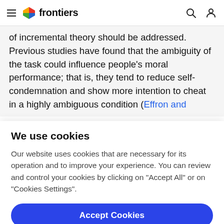frontiers
of incremental theory should be addressed. Previous studies have found that the ambiguity of the task could influence people's moral performance; that is, they tend to reduce self-condemnation and show more intention to cheat in a highly ambiguous condition (Effron and
We use cookies
Our website uses cookies that are necessary for its operation and to improve your experience. You can review and control your cookies by clicking on "Accept All" or on "Cookies Settings".
Accept Cookies
Cookies Settings